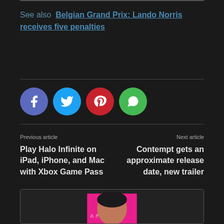See also  Belgian Grand Prix: Lando Norris receives five penalties
[Figure (infographic): Four social sharing buttons: Facebook (blue-purple circle with f icon), Twitter (cyan circle with bird icon), Pinterest (red circle with p icon), WhatsApp (green circle with speech bubble icon)]
Previous article
Play Halo Infinite on iPad, iPhone, and Mac with Xbox Game Pass
Next article
Contempt gets an approximate release date, new trailer
[Figure (photo): Partial image of a person against a pink/magenta background with Japanese text visible]